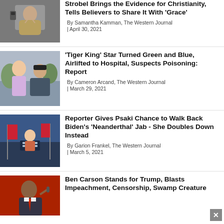[Figure (photo): Man in tan jacket holding camera, gesturing]
Strobel Brings the Evidence for Christianity, Tells Believers to Share It With 'Grace'
By Samantha Kamman, The Western Journal
| April 30, 2021
[Figure (photo): Two people outdoors, one younger woman and one person with black hat]
'Tiger King' Star Turned Green and Blue, Airlifted to Hospital, Suspects Poisoning: Report
By Cameron Arcand, The Western Journal
| March 29, 2021
[Figure (photo): Press briefing room with woman at podium and American flags]
Reporter Gives Psaki Chance to Walk Back Biden's 'Neanderthal' Jab - She Doubles Down Instead
By Garion Frankel, The Western Journal
| March 5, 2021
[Figure (photo): Ben Carson speaking at podium against red background]
Ben Carson Stands for Trump, Blasts Impeachment, Censorship, Swamp Creature